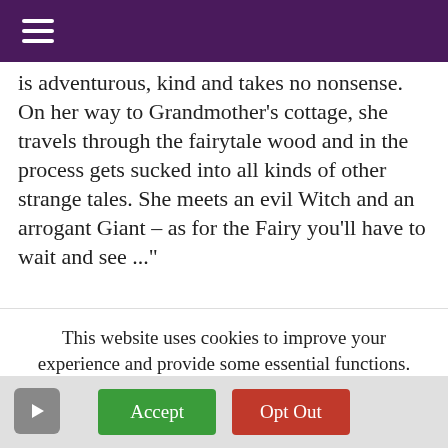Navigation menu header bar
is adventurous, kind and takes no nonsense. On her way to Grandmother's cottage, she travels through the fairytale wood and in the process gets sucked into all kinds of other strange tales. She meets an evil Witch and an arrogant Giant – as for the Fairy you'll have to wait and see ..."
Performances run from 10 December 2021 to 3
This website uses cookies to improve your experience and provide some essential functions. Details are available in our Privacy policy. You can accept all cookies (which will help us understand how visitors interact with our website) or opt out of non-necessary cookies.